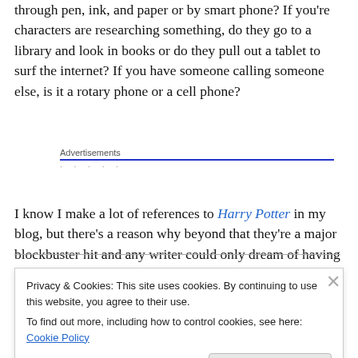through pen, ink, and paper or by smart phone? If you're characters are researching something, do they go to a library and look in books or do they pull out a tablet to surf the internet? If you have someone calling someone else, is it a rotary phone or a cell phone?
Advertisements
I know I make a lot of references to Harry Potter in my blog, but there's a reason why beyond that they're a major blockbuster hit and any writer could only dream of having
Privacy & Cookies: This site uses cookies. By continuing to use this website, you agree to their use.
To find out more, including how to control cookies, see here: Cookie Policy
Close and accept